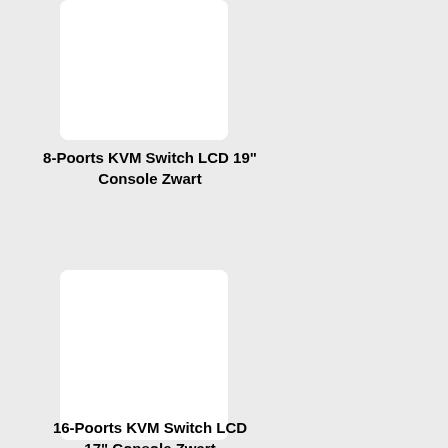[Figure (photo): White rectangular product image placeholder for 8-Poorts KVM Switch LCD 19" Console Zwart]
8-Poorts KVM Switch LCD 19" Console Zwart
[Figure (photo): White rectangular product image placeholder for 16-Poorts KVM Switch LCD 17" Console Zwart]
16-Poorts KVM Switch LCD 17" Console Zwart